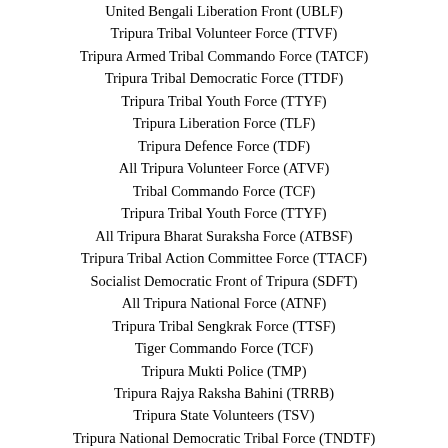United Bengali Liberation Front (UBLF)
Tripura Tribal Volunteer Force (TTVF)
Tripura Armed Tribal Commando Force (TATCF)
Tripura Tribal Democratic Force (TTDF)
Tripura Tribal Youth Force (TTYF)
Tripura Liberation Force (TLF)
Tripura Defence Force (TDF)
All Tripura Volunteer Force (ATVF)
Tribal Commando Force (TCF)
Tripura Tribal Youth Force (TTYF)
All Tripura Bharat Suraksha Force (ATBSF)
Tripura Tribal Action Committee Force (TTACF)
Socialist Democratic Front of Tripura (SDFT)
All Tripura National Force (ATNF)
Tripura Tribal Sengkrak Force (TTSF)
Tiger Commando Force (TCF)
Tripura Mukti Police (TMP)
Tripura Rajya Raksha Bahini (TRRB)
Tripura State Volunteers (TSV)
Tripura National Democratic Tribal Force (TNDTF)
EVEN MORE FREEDOM FIGHTING ORGANIZATIONS IN INDIA::
National Militia of Tripura (NMT)
All Tripura Bengali Regiment (ATBR)